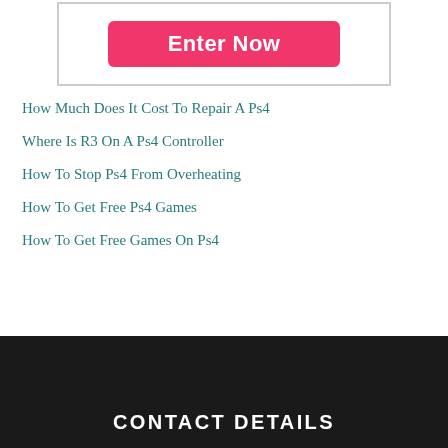[Figure (screenshot): Screenshot showing a pink 'Enter Now' button inside a bordered box]
How Much Does It Cost To Repair A Ps4
Where Is R3 On A Ps4 Controller
How To Stop Ps4 From Overheating
How To Get Free Ps4 Games
How To Get Free Games On Ps4
CONTACT DETAILS